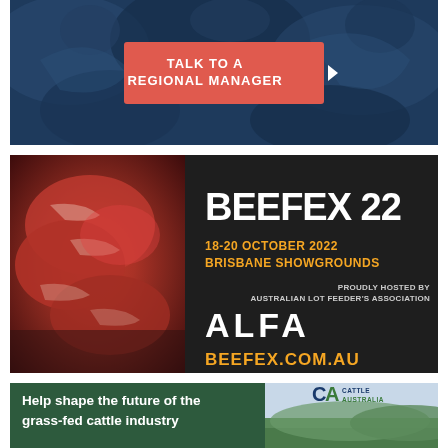[Figure (infographic): Dark blue banner with cattle silhouettes in background, featuring a red 'TALK TO A REGIONAL MANAGER' button with arrow]
[Figure (infographic): BEEFEX 22 advertisement banner. Left side shows raw red beef cuts. Right side on dark background shows: BEEFEX 22 in white bold text, '18-20 OCTOBER 2022 BRISBANE SHOWGROUNDS' in orange, 'PROUDLY HOSTED BY AUSTRALIAN LOT FEEDER'S ASSOCIATION' in grey, ALFA logo in white, and BEEFEX.COM.AU in orange.]
[Figure (infographic): Cattle Australia advertisement. Left green panel says 'Help shape the future of the grass-fed cattle industry'. Right panel shows countryside/farm background with CA Cattle Australia logo in top right.]